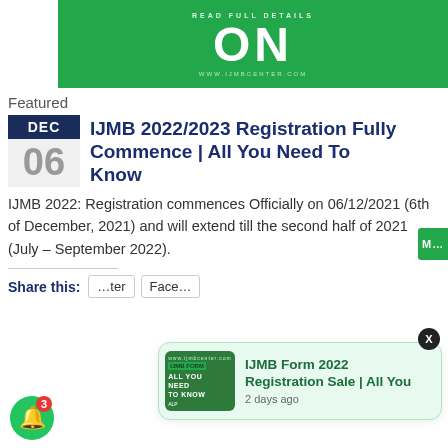[Figure (illustration): Green banner image with text 'READ FULL DETAILS ON www.ijmbcenter.com']
Featured
IJMB 2022/2023 Registration Fully Commence | All You Need To Know
IJMB 2022: Registration commences Officially on 06/12/2021 (6th of December, 2021) and will extend till the second half of 2021 (July – September 2022).
Share this:
[Figure (screenshot): Popup notification card showing IJMB Form 2022 Registration Sale | All You, 2 days ago]